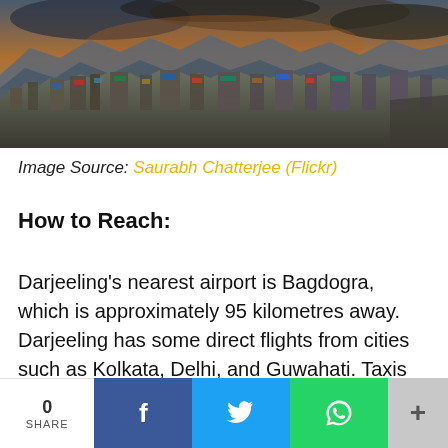[Figure (photo): Panoramic aerial view of Darjeeling city with mountains in background, dramatic cloudy sky, colorful rooftops and buildings spread across hillside]
Image Source: Saurabh Chatterjee (Flickr)
How to Reach:
Darjeeling's nearest airport is Bagdogra, which is approximately 95 kilometres away. Darjeeling has some direct flights from cities such as Kolkata, Delhi, and Guwahati. Taxis can be hired from the airport to get into the city. The journey from the airport to Darjeeling will take nearly three hours